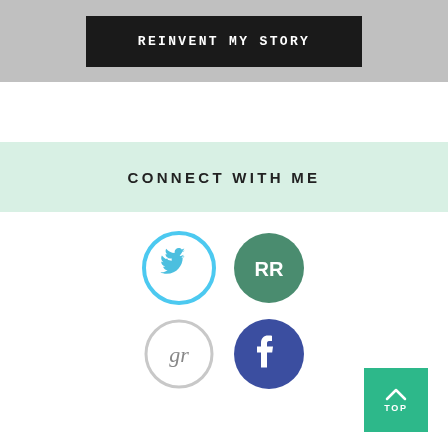REINVENT MY STORY
CONNECT WITH ME
[Figure (illustration): Four social media icon circles: Twitter (light blue outline circle with bird), RB/Redbubble (dark green filled circle with RR letters), Goodreads (light gray outline circle with 'gr' text), Facebook (dark blue/indigo filled circle with F logo). Arranged in 2x2 grid.]
[Figure (other): Teal/green 'TOP' button with upward chevron arrow, positioned bottom right corner.]